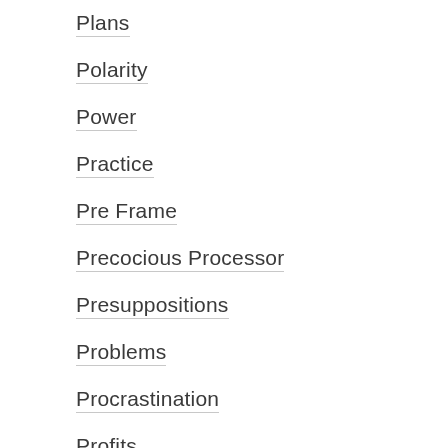Plans
Polarity
Power
Practice
Pre Frame
Precocious Processor
Presuppositions
Problems
Procrastination
Profits
Progress
Proof
Prosperity
Public Speaking